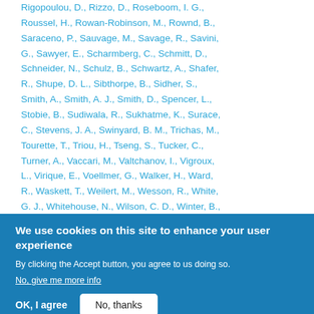Rigopoulou, D., Rizzo, D., Roseboom, I. G., Roussel, H., Rowan-Robinson, M., Rownd, B., Saraceno, P., Sauvage, M., Savage, R., Savini, G., Sawyer, E., Scharmberg, C., Schmitt, D., Schneider, N., Schulz, B., Schwartz, A., Shafer, R., Shupe, D. L., Sibthorpe, B., Sidher, S., Smith, A., Smith, A. J., Smith, D., Spencer, L., Stobie, B., Sudiwala, R., Sukhatme, K., Surace, C., Stevens, J. A., Swinyard, B. M., Trichas, M., Tourette, T., Triou, H., Tseng, S., Tucker, C., Turner, A., Vaccari, M., Valtchanov, I., Vigroux, L., Virique, E., Voellmer, G., Walker, H., Ward, R., Waskett, T., Weilert, M., Wesson, R., White, G. J., Whitehouse, N., Wilson, C. D., Winter, B., Woodcraft, A., Wright, G. S., Yu, C. K.
We use cookies on this site to enhance your user experience
By clicking the Accept button, you agree to us doing so. No, give me more info
OK, I agree
No, thanks